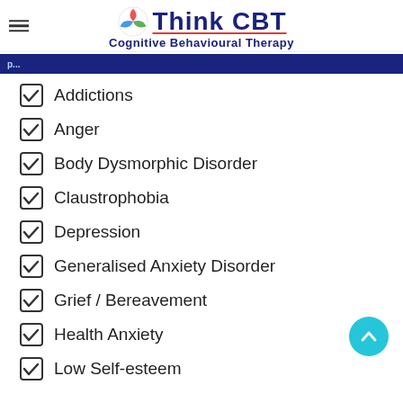Think CBT — Cognitive Behavioural Therapy
Addictions
Anger
Body Dysmorphic Disorder
Claustrophobia
Depression
Generalised Anxiety Disorder
Grief / Bereavement
Health Anxiety
Low Self-esteem